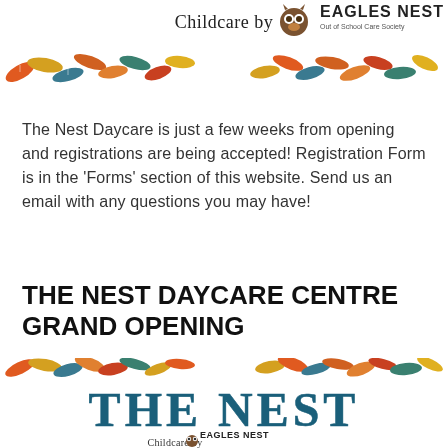[Figure (logo): Childcare by Eagles Nest Out of School Care Society logo with colorful autumn leaf border decoration]
The Nest Daycare is just a few weeks from opening and registrations are being accepted! Registration Form is in the 'Forms' section of this website. Send us an email with any questions you may have!
THE NEST DAYCARE CENTRE GRAND OPENING
[Figure (illustration): The Nest banner image with colorful autumn leaves border, large text 'THE NEST' in blue, and Childcare by Eagles Nest logo at bottom]